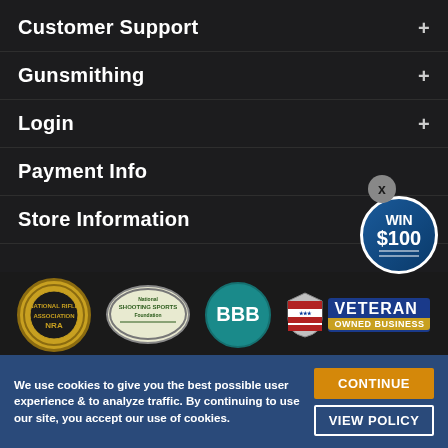Customer Support
Gunsmithing
Login
Payment Info
Store Information
[Figure (logo): NRA National Rifle Association logo circle]
[Figure (logo): National Shooting Sports Foundation oval logo]
[Figure (logo): BBB Better Business Bureau teal circle logo]
[Figure (logo): Veteran Owned Business shield badge with American flag]
[Figure (infographic): WIN $100 circular blue badge with close X button]
We use cookies to give you the best possible user experience & to analyze traffic. By continuing to use our site, you accept our use of cookies.
CONTINUE
VIEW POLICY